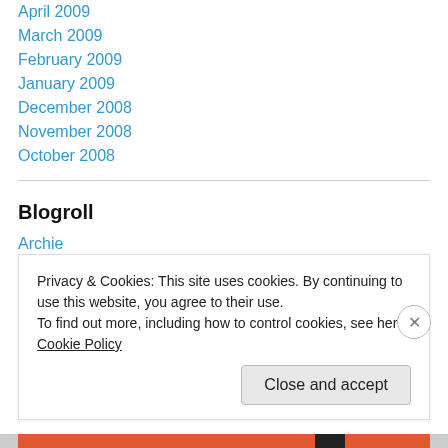April 2009
March 2009
February 2009
January 2009
December 2008
November 2008
October 2008
Blogroll
Archie
bbgcmac
Bellissimanh
Privacy & Cookies: This site uses cookies. By continuing to use this website, you agree to their use.
To find out more, including how to control cookies, see here: Cookie Policy
Close and accept